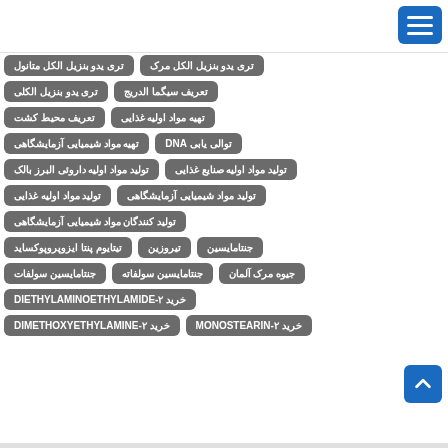تری یدو بنزیل الکل متانول
تری یدو بنزیل الکل مرک
تری یدو بنزیل الکلی
تعریف سیگما الدریج
تعریف محیط کشت
تهیه مواد اولیه غذایی
تهیه مواد شیمیایی آزمایشگاهی
توالی یابی DNA
تولید مواد اولیه داروئی البرز بالک
تولید مواد اولیه صنایع غذایی
تولید مواد اولیه غذایی
تولید مواد شیمیایی آزمایشگاهی
تولید کنندگان مواد شیمیایی آزمایشگاهی
تیتایوم پنتا ایزوپروپوکساید
تیروزین
جنتامایسین
جنتامایسین سولفات
جنتامایسین سولفاته
جیوه مرک آلمان
خرید DIETHYLAMINOETHYLAMIDE-۲
خرید DIMETHOXYETHYLAMINE-۲
خرید MONOSTEARIN-۲